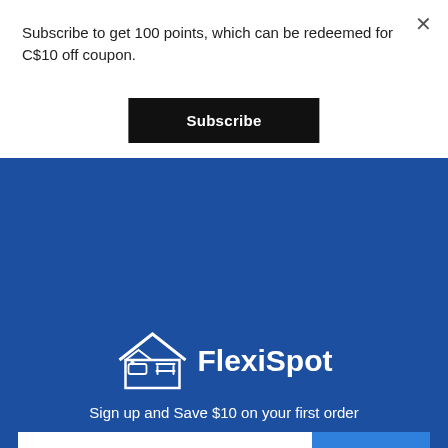Subscribe to get 100 points, which can be redeemed for C$10 off coupon.
Subscribe
[Figure (logo): FlexiSpot logo with house icon and text 'FlexiSpot' in white on blue background]
Sign up and Save $10 on your first order
Enter your email address
Submit
1
SUPPORT
PROGRAM